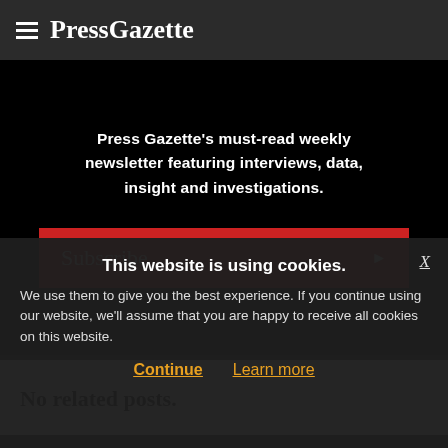PressGazette
Press Gazette's must-read weekly newsletter featuring interviews, data, insight and investigations.
Subscribe
No related posts.
This website is using cookies.
We use them to give you the best experience. If you continue using our website, we'll assume that you are happy to receive all cookies on this website.
Continue   Learn more